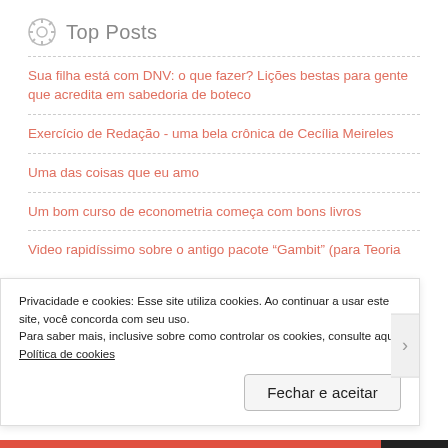Top Posts
Sua filha está com DNV: o que fazer? Lições bestas para gente que acredita em sabedoria de boteco
Exercício de Redação - uma bela crônica de Cecília Meireles
Uma das coisas que eu amo
Um bom curso de econometria começa com bons livros
Video rapidíssimo sobre o antigo pacote "Gambit" (para Teoria
Privacidade e cookies: Esse site utiliza cookies. Ao continuar a usar este site, você concorda com seu uso.
Para saber mais, inclusive sobre como controlar os cookies, consulte aqui:
Política de cookies
Fechar e aceitar